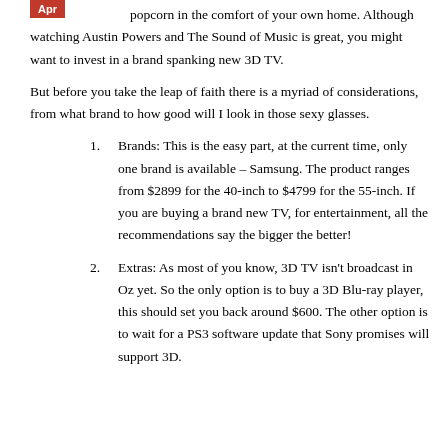popcorn in the comfort of your own home.  Although watching Austin Powers and The Sound of Music is great, you might want to invest in a brand spanking new 3D TV.
But before you take the leap of faith there is a myriad of considerations, from what brand to how good will I look in those sexy glasses.
Brands: This is the easy part, at the current time, only one brand is available – Samsung.  The product ranges from $2899 for the 40-inch to $4799 for the 55-inch.  If you are buying a brand new TV, for entertainment, all the recommendations say the bigger the better!
Extras: As most of you know, 3D TV isn't broadcast in Oz yet. So the only option is to buy a 3D Blu-ray player, this should set you back around $600.  The other option is to wait for a PS3 software update that Sony promises will support 3D.